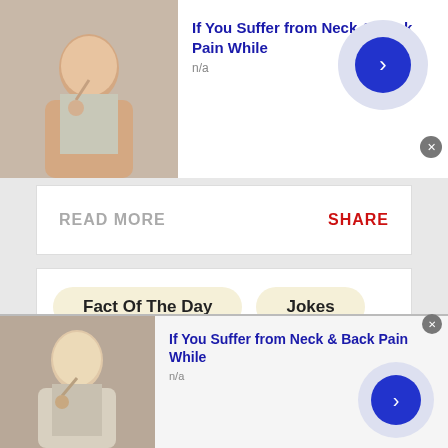[Figure (screenshot): Top advertisement banner: photo of woman touching neck, text 'If You Suffer from Neck & Back Pain While', n/a, blue circle button with arrow, close X button]
READ MORE
SHARE
[Figure (screenshot): Main content card with tabs 'Fact Of The Day' and 'Jokes', post text '> I want meet <3 <3', bottom line '->  . (Nicole007)', link 'https://tollesdate.com']
[Figure (screenshot): Bottom advertisement banner: photo of man touching neck, text 'If You Suffer from Neck & Back Pain While', n/a, blue circle button with arrow, close X button]